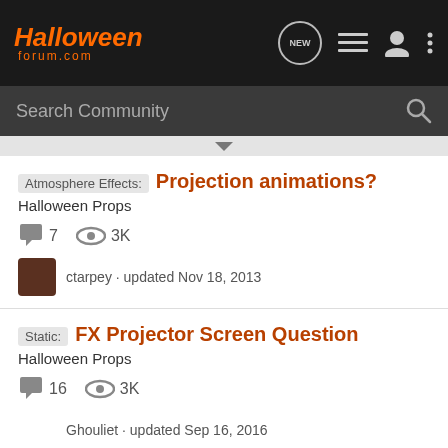[Figure (screenshot): HalloweenForum.com website navigation bar with logo, NEW button, list icon, user icon, and more icon]
Search Community
Atmosphere Effects: Projection animations? — Halloween Props — 7 replies, 3K views — ctarpey · updated Nov 18, 2013
Static: FX Projector Screen Question — Halloween Props — 16 replies, 3K views — Ghouliet · updated Sep 16, 2016